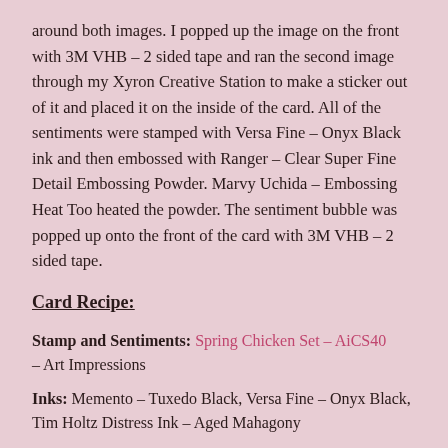around both images. I popped up the image on the front with 3M VHB – 2 sided tape and ran the second image through my Xyron Creative Station to make a sticker out of it and placed it on the inside of the card. All of the sentiments were stamped with Versa Fine – Onyx Black ink and then embossed with Ranger – Clear Super Fine Detail Embossing Powder. Marvy Uchida – Embossing Heat Too heated the powder. The sentiment bubble was popped up onto the front of the card with 3M VHB – 2 sided tape.
Card Recipe:
Stamp and Sentiments: Spring Chicken Set – AiCS40 – Art Impressions
Inks: Memento – Tuxedo Black, Versa Fine – Onyx Black, Tim Holtz Distress Ink – Aged Mahagony